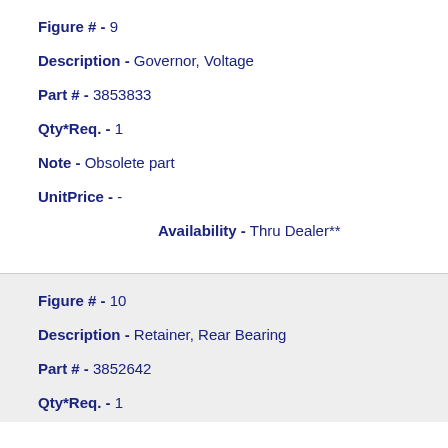Figure # - 9
Description - Governor, Voltage
Part # - 3853833
Qty*Req. - 1
Note - Obsolete part
UnitPrice - -
Availability - Thru Dealer**
Figure # - 10
Description - Retainer, Rear Bearing
Part # - 3852642
Qty*Req. - 1